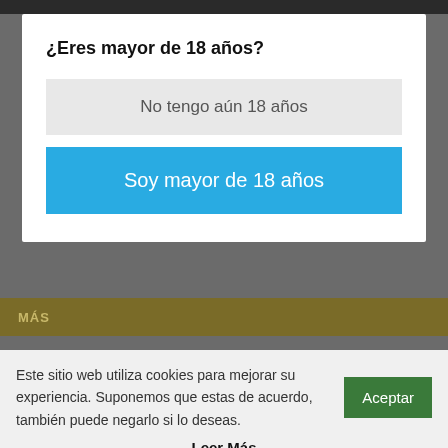¿Eres mayor de 18 años?
No tengo aún 18 años
Soy mayor de 18 años
MÁS
Este sitio web utiliza cookies para mejorar su experiencia. Suponemos que estas de acuerdo, también puede negarlo si lo deseas.
Aceptar
Leer Más